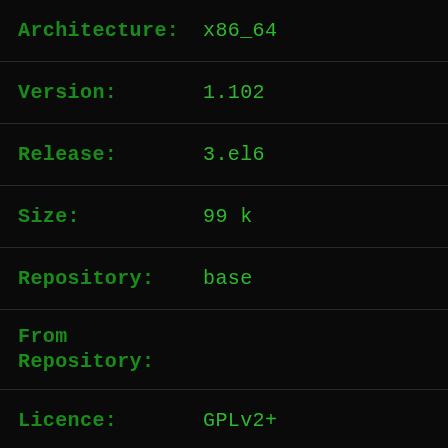Architecture: x86_64
Version: 1.102
Release: 3.el6
Size: 99 k
Repository: base
From Repository:
Licence: GPLv2+